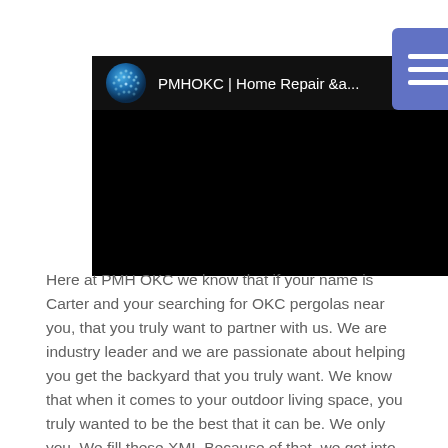[Figure (screenshot): A YouTube-style video player thumbnail showing a dark/black video area with a channel header displaying a blue globe logo and channel name 'PMHOKC | Home Repair &a...' with a three-dot menu icon. A blue hamburger menu button overlaps the top-right corner of the video.]
Here at PMH OKC we know that if your name is Carter and your searching for OKC pergolas near you, that you truly want to partner with us. We are industry leader and we are passionate about helping you get the backyard that you truly want. We know that when it comes to your outdoor living space, you truly wanted to be the best that it can be. We only you. We fill these XMI. Because of that, we got into